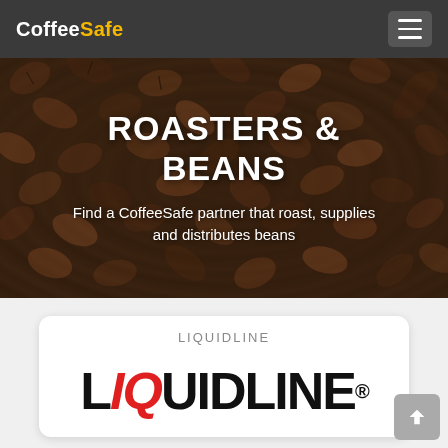CoffeeSafe
ROASTERS & BEANS
Find a CoffeeSafe partner that roast, supplies and distributes beans
LIQUIDLINE
[Figure (logo): LIQUIDLINE logo with red stylized U in the word, registered trademark symbol]